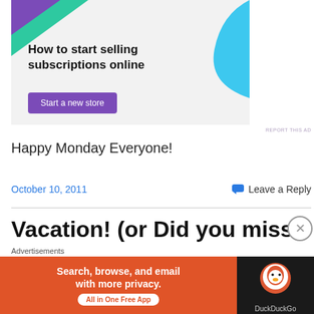[Figure (illustration): Advertisement banner: 'How to start selling subscriptions online' with purple 'Start a new store' button, green triangle top-left, blue curved shape top-right, light gray background.]
REPORT THIS AD
Happy Monday Everyone!
October 10, 2011
Leave a Reply
Vacation! (or Did you miss
[Figure (screenshot): DuckDuckGo advertisement: 'Search, browse, and email with more privacy. All in One Free App' on orange background with DuckDuckGo logo on dark right panel.]